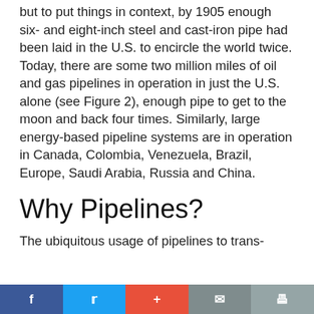but to put things in context, by 1905 enough six- and eight-inch steel and cast-iron pipe had been laid in the U.S. to encircle the world twice. Today, there are some two million miles of oil and gas pipelines in operation in just the U.S. alone (see Figure 2), enough pipe to get to the moon and back four times. Similarly, large energy-based pipeline systems are in operation in Canada, Colombia, Venezuela, Brazil, Europe, Saudi Arabia, Russia and China.
Why Pipelines?
The ubiquitous usage of pipelines to trans-
f  t  +  mail  print